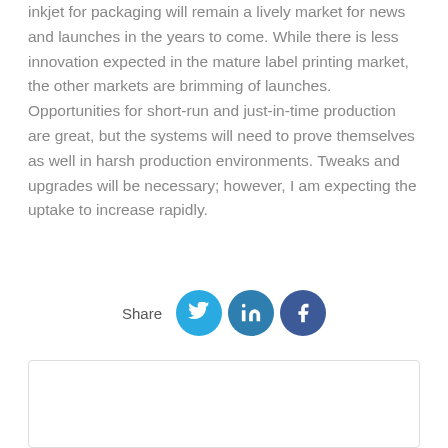inkjet for packaging will remain a lively market for news and launches in the years to come. While there is less innovation expected in the mature label printing market, the other markets are brimming of launches. Opportunities for short-run and just-in-time production are great, but the systems will need to prove themselves as well in harsh production environments. Tweaks and upgrades will be necessary; however, I am expecting the uptake to increase rapidly.
[Figure (infographic): Share buttons for Twitter, LinkedIn, and Facebook social media platforms, with a 'Share' label]
ABOUT THE AUTHOR
Ralf Schlozer